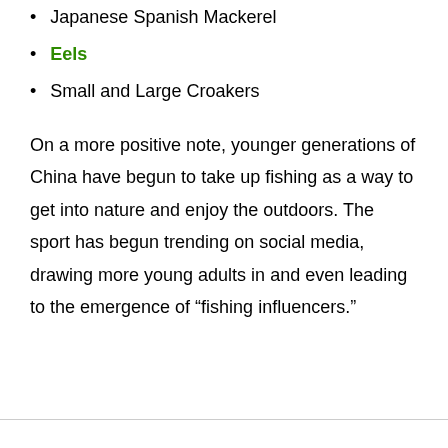Japanese Spanish Mackerel
Eels
Small and Large Croakers
On a more positive note, younger generations of China have begun to take up fishing as a way to get into nature and enjoy the outdoors. The sport has begun trending on social media, drawing more young adults in and even leading to the emergence of “fishing influencers.”